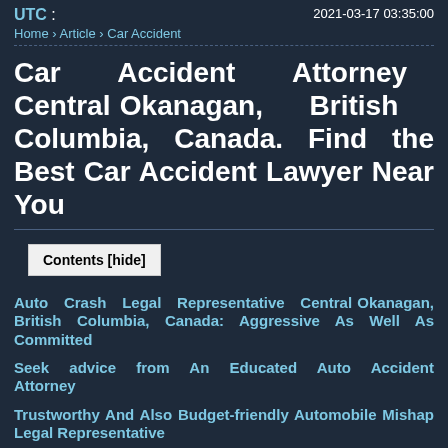UTC : 2021-03-17 03:35:00
Home › Article › Car Accident
Car Accident Attorney Central Okanagan, British Columbia, Canada. Find the Best Car Accident Lawyer Near You
Contents [hide]
Auto Crash Legal Representative Central Okanagan, British Columbia, Canada: Aggressive As Well As Committed
Seek advice from An Educated Auto Accident Attorney
Trustworthy And Also Budget-friendly Automobile Mishap Legal Representative
The reliable automobile crash lawyers at Central